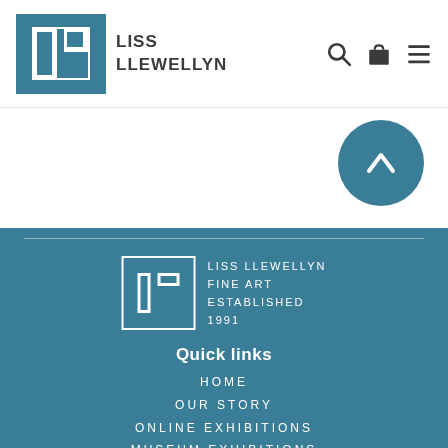[Figure (logo): Liss Llewellyn logo: teal square with white L-shaped bracket marks, with text LISS LLEWELLYN to the right]
[Figure (illustration): Teal circular up-arrow/back-to-top button]
[Figure (logo): Liss Llewellyn Fine Art footer logo: white bordered square with white L brackets, text LISS LLEWELLYN FINE ART ESTABLISHED 1991]
Quick links
HOME
OUR STORY
ONLINE EXHIBITIONS
MUSEUM EXHIBITIONS
VIEW ARTISTS
VIEW PICTURES
CONTACT US